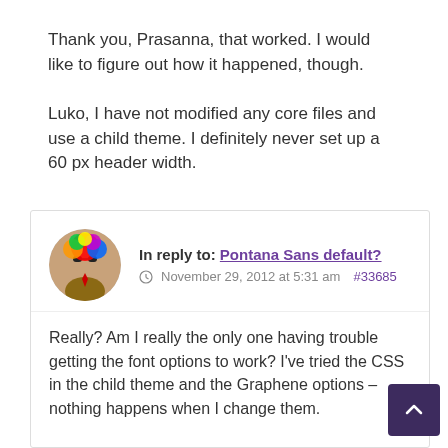Thank you, Prasanna, that worked. I would like to figure out how it happened, though.

Luko, I have not modified any core files and use a child theme. I definitely never set up a 60 px header width.
In reply to: Pontana Sans default?
November 29, 2012 at 5:31 am #33685
Really? Am I really the only one having trouble getting the font options to work? I've tried the CSS in the child theme and the Graphene options – nothing happens when I change them.

I've got three sites using this theme, and I can't have every single one of them using the same header fon